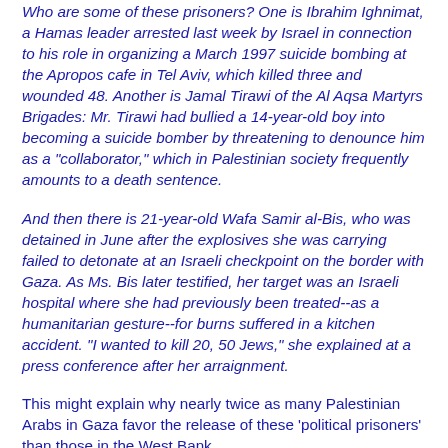Who are some of these prisoners? One is Ibrahim Ighnimat, a Hamas leader arrested last week by Israel in connection to his role in organizing a March 1997 suicide bombing at the Apropos cafe in Tel Aviv, which killed three and wounded 48. Another is Jamal Tirawi of the Al Aqsa Martyrs Brigades: Mr. Tirawi had bullied a 14-year-old boy into becoming a suicide bomber by threatening to denounce him as a "collaborator," which in Palestinian society frequently amounts to a death sentence.
And then there is 21-year-old Wafa Samir al-Bis, who was detained in June after the explosives she was carrying failed to detonate at an Israeli checkpoint on the border with Gaza. As Ms. Bis later testified, her target was an Israeli hospital where she had previously been treated--as a humanitarian gesture--for burns suffered in a kitchen accident. "I wanted to kill 20, 50 Jews," she explained at a press conference after her arraignment.
This might explain why nearly twice as many Palestinian Arabs in Gaza favor the release of these 'political prisoners' than those in the West Bank.